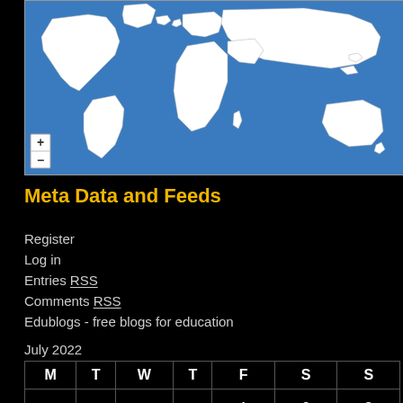[Figure (map): World map with blue ocean background and white landmasses showing country borders, with zoom +/- controls in the bottom-left corner]
Meta Data and Feeds
Register
Log in
Entries RSS
Comments RSS
Edublogs - free blogs for education
July 2022
| M | T | W | T | F | S | S |
| --- | --- | --- | --- | --- | --- | --- |
|  |  |  |  | 1 | 2 | 3 |